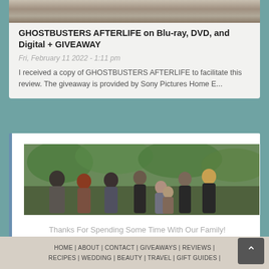[Figure (photo): Top portion of an article card showing a partial nature/outdoor photo]
GHOSTBUSTERS AFTERLIFE on Blu-ray, DVD, and Digital + GIVEAWAY
Fri, February 11 2022 - 1:11 pm
I received a copy of GHOSTBUSTERS AFTERLIFE to facilitate this review. The giveaway is provided by Sony Pictures Home E...
[Figure (photo): Family group photo with 7-8 people (man, woman, several children) outdoors with greenery in the background]
Thanks For Spending Some Time With Our Family!
HOME | ABOUT | CONTACT | GIVEAWAYS | REVIEWS | RECIPES | WEDDING | BEAUTY | TRAVEL | GIFT GUIDES |